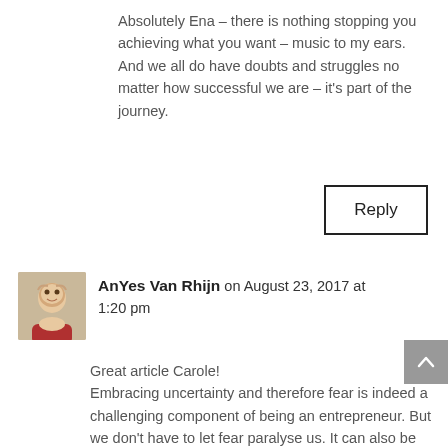Absolutely Ena – there is nothing stopping you achieving what you want – music to my ears. And we all do have doubts and struggles no matter how successful we are – it's part of the journey.
Reply
AnYes Van Rhijn on August 23, 2017 at 1:20 pm
Great article Carole! Embracing uncertainty and therefore fear is indeed a challenging component of being an entrepreneur. But we don't have to let fear paralyse us. It can also be leveraged as a fuel if we have a very clear vision of what we want to achieve.